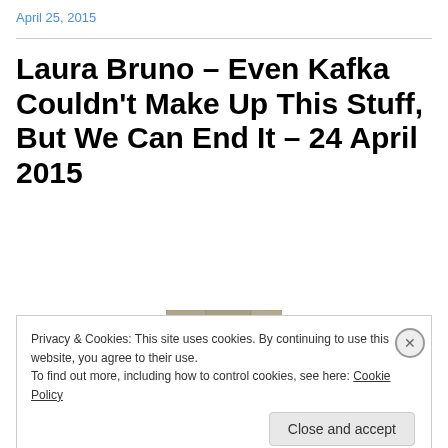April 25, 2015
Laura Bruno – Even Kafka Couldn't Make Up This Stuff, But We Can End It – 24 April 2015
[Figure (photo): A woman standing in front of ancient stone ruins]
Privacy & Cookies: This site uses cookies. By continuing to use this website, you agree to their use.
To find out more, including how to control cookies, see here: Cookie Policy